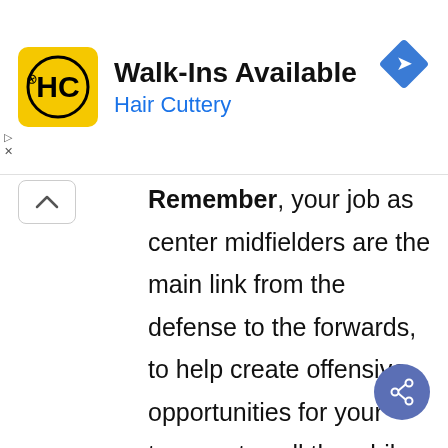[Figure (logo): Hair Cuttery advertisement banner with yellow HC logo, title 'Walk-Ins Available', subtitle 'Hair Cuttery', and a blue navigation diamond icon]
Remember, your job as center midfielders are the main link from the defense to the forwards, to help create offensive opportunities for your teammates all the while marking the opposing center midfield and winning 50/50 balls. These are not simple duties but are necessary for this position. You skill level must be high and complete to face any scenario on the field. You must have great stamina and strength to win the battles, tackles